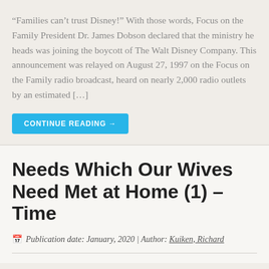“Families can’t trust Disney!” With those words, Focus on the Family President Dr. James Dobson declared that the ministry he heads was joining the boycott of The Walt Disney Company. This announcement was relayed on August 27, 1997 on the Focus on the Family radio broadcast, heard on nearly 2,000 radio outlets by an estimated […]
CONTINUE READING →
Needs Which Our Wives Need Met at Home (1) – Time
Publication date: January, 2020 | Author: Kuiken, Richard